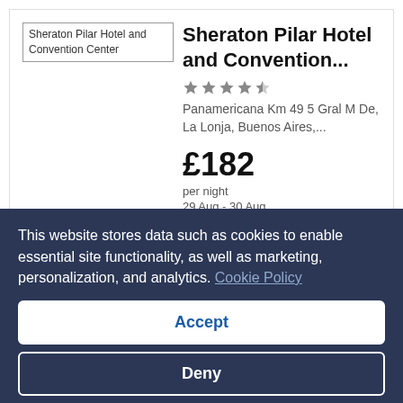[Figure (photo): Placeholder image for Sheraton Pilar Hotel and Convention Center]
Sheraton Pilar Hotel and Convention...
[Figure (other): 4.5 star rating shown with star icons]
Panamericana Km 49 5 Gral M De, La Lonja, Buenos Aires,...
£182
per night
29 Aug - 30 Aug
Show details
This website stores data such as cookies to enable essential site functionality, as well as marketing, personalization, and analytics. Cookie Policy
Accept
Deny